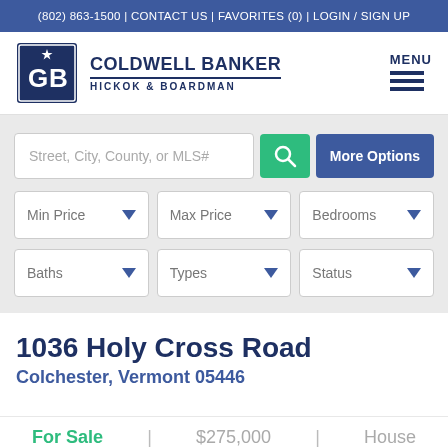(802) 863-1500 | CONTACT US | FAVORITES (0) | LOGIN / SIGN UP
[Figure (logo): Coldwell Banker Hickok & Boardman logo with CB monogram in navy blue square]
COLDWELL BANKER HICKOK & BOARDMAN
MENU
Street, City, County, or MLS#
More Options
Min Price
Max Price
Bedrooms
Baths
Types
Status
1036 Holy Cross Road
Colchester, Vermont 05446
For Sale | $275,000 | House